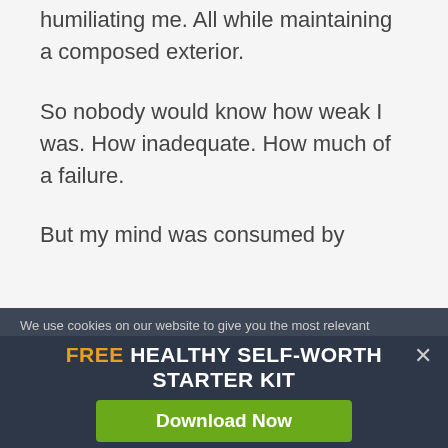humiliating me. All while maintaining a composed exterior.
So nobody would know how weak I was. How inadequate. How much of a failure.
But my mind was consumed by
We use cookies on our website to give you the most relevant
FREE HEALTHY SELF-WORTH STARTER KIT
Download Now